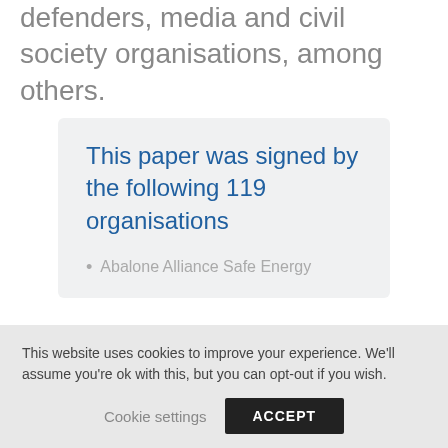defenders, media and civil society organisations, among others.
This paper was signed by the following 119 organisations
Abalone Alliance Safe Energy
This website uses cookies to improve your experience. We'll assume you're ok with this, but you can opt-out if you wish.
Cookie settings
ACCEPT